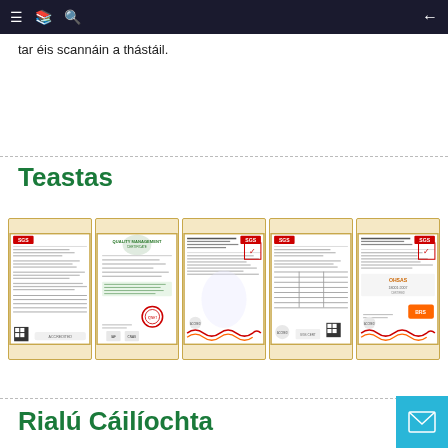≡ 📋 🔍 ←
tar éis scannáin a thástáil.
Teastas
[Figure (photo): Five framed certificates displayed side by side — four bearing the SGS logo on white document backgrounds with text and QR codes, and one green quality management certificate with IAF and CNAS logos.]
Rialú Cáilíochta